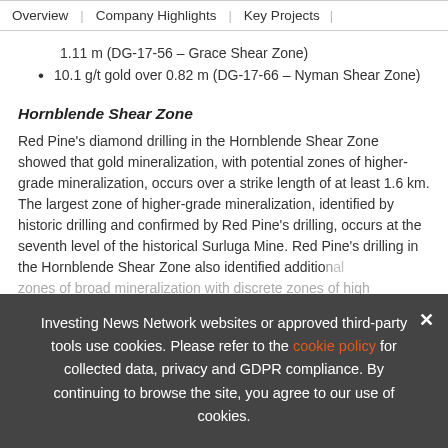Overview | Company Highlights | Key Projects |
1.11 m (DG-17-56 – Grace Shear Zone)
10.1 g/t gold over 0.82 m (DG-17-66 – Nyman Shear Zone)
Hornblende Shear Zone
Red Pine's diamond drilling in the Hornblende Shear Zone showed that gold mineralization, with potential zones of higher-grade mineralization, occurs over a strike length of at least 1.6 km. The largest zone of higher-grade mineralization, identified by historic drilling and confirmed by Red Pine's drilling, occurs at the seventh level of the historical Surluga Mine. Red Pine's drilling in the Hornblende Shear Zone also identified additional zones of broad mineralization with discrete zones of high
Investing News Network websites or approved third-party tools use cookies. Please refer to the cookie policy for collected data, privacy and GDPR compliance. By continuing to browse the site, you agree to our use of cookies.